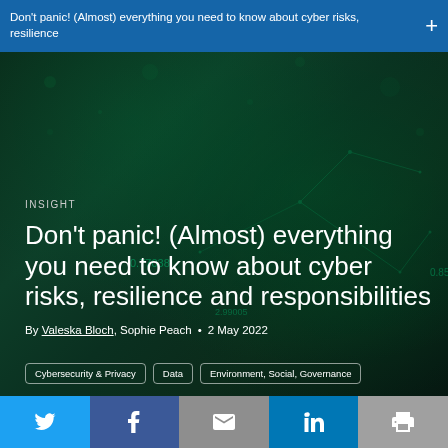Don't panic! (Almost) everything you need to know about cyber risks, resilience +
[Figure (photo): Dark teal/green abstract digital network background with glowing dots and connection lines, overlaid with floating numerical values]
INSIGHT
Don't panic! (Almost) everything you need to know about cyber risks, resilience and responsibilities
By Valeska Bloch, Sophie Peach • 2 May 2022
Cybersecurity & Privacy | Data | Environment, Social, Governance